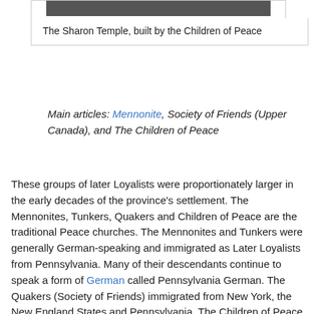[Figure (photo): Black and white photograph of the Sharon Temple, built by the Children of Peace]
The Sharon Temple, built by the Children of Peace
Main articles: Mennonite, Society of Friends (Upper Canada), and The Children of Peace
These groups of later Loyalists were proportionately larger in the early decades of the province's settlement. The Mennonites, Tunkers, Quakers and Children of Peace are the traditional Peace churches. The Mennonites and Tunkers were generally German-speaking and immigrated as Later Loyalists from Pennsylvania. Many of their descendants continue to speak a form of German called Pennsylvania German. The Quakers (Society of Friends) immigrated from New York, the New England States and Pennsylvania. The Children of Peace were founded during the War of 1812 after a schism in the Society of Friends in York County.[54] A further schism occurred in 1828, leaving two branches